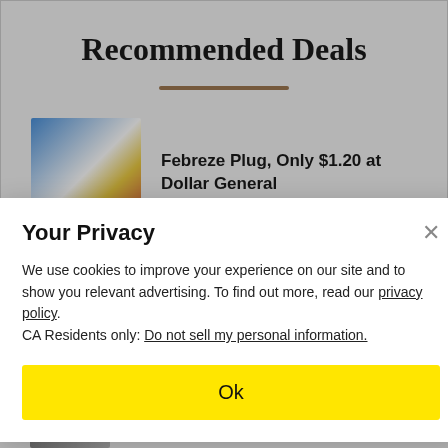Recommended Deals
Febreze Plug, Only $1.20 at Dollar General
7UP, Sunkist, Dr Pepper, & More
Your Privacy
We use cookies to improve your experience on our site and to show you relevant advertising. To find out more, read our privacy policy.
CA Residents only: Do not sell my personal information.
Ok